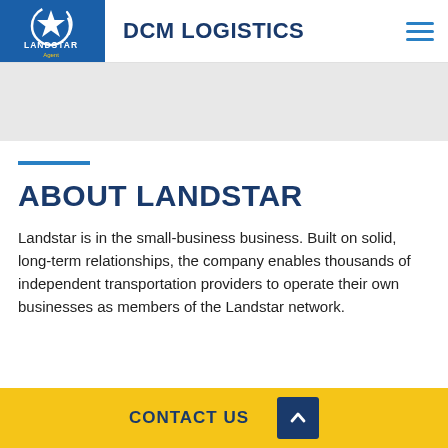DCM LOGISTICS
[Figure (logo): Landstar Agent logo – blue square with white star and circular swoosh, white text 'LANDSTAR' and 'Agent']
ABOUT LANDSTAR
Landstar is in the small-business business. Built on solid, long-term relationships, the company enables thousands of independent transportation providers to operate their own businesses as members of the Landstar network.
CONTACT US